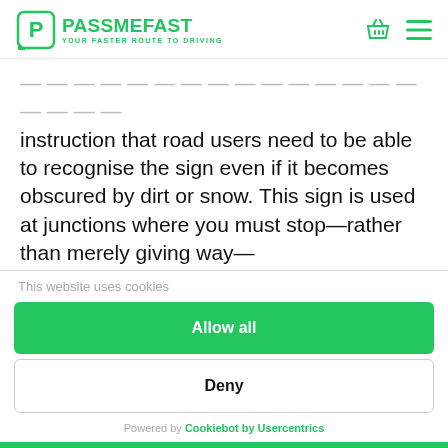PASS ME FAST — YOUR FASTER ROUTE TO DRIVING
instruction that road users need to be able to recognise the sign even if it becomes obscured by dirt or snow. This sign is used at junctions where you must stop—rather than merely giving way—
This website uses cookies
Allow all
Deny
Powered by Cookiebot by Usercentrics